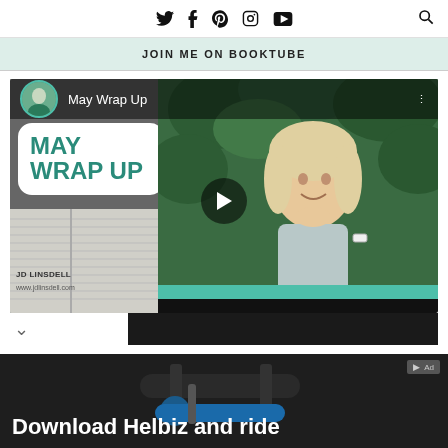Twitter Facebook Pinterest Instagram YouTube [Search]
JOIN ME ON BOOKTUBE
[Figure (screenshot): YouTube video embed showing 'May Wrap Up' BookTube video by JD Linsdell. Left side shows text 'MAY WRAP UP' on white rounded box over books background with JD Linsdell branding. Right side shows blonde woman smiling in front of green leafy background. Play button in center.]
[Figure (photo): Advertisement banner showing 'Download Helbiz and ride' text over dark photo of electric scooter handlebars.]